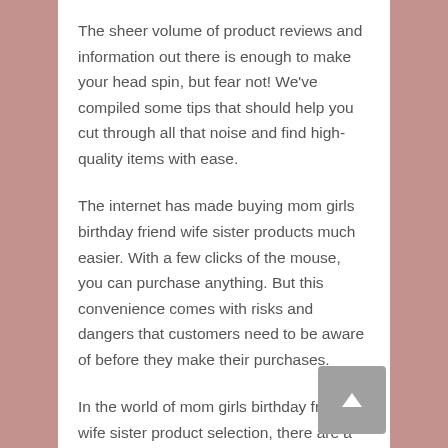The sheer volume of product reviews and information out there is enough to make your head spin, but fear not! We've compiled some tips that should help you cut through all that noise and find high-quality items with ease.
The internet has made buying mom girls birthday friend wife sister products much easier. With a few clicks of the mouse, you can purchase anything. But this convenience comes with risks and dangers that customers need to be aware of before they make their purchases.
In the world of mom girls birthday friend wife sister product selection, there are a lot of factors to consider. First off, there is a budget. You need to know how much you can afford